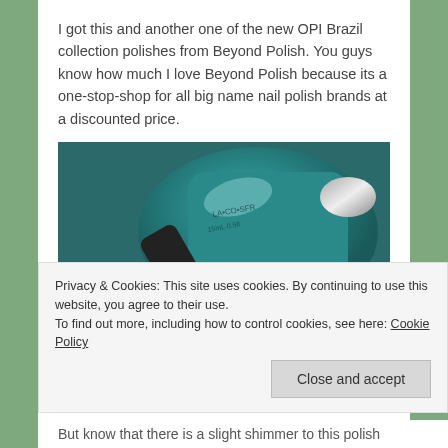I got this and another one of the new OPI Brazil collection polishes from Beyond Polish. You guys know how much I love Beyond Polish because its a one-stop-shop for all big name nail polish brands at a discounted price.
[Figure (photo): Close-up photo of a hand with teal/dark green nail polish applied, holding a teal OPI nail polish bottle]
Privacy & Cookies: This site uses cookies. By continuing to use this website, you agree to their use.
To find out more, including how to control cookies, see here: Cookie Policy
Close and accept
But know that there is a slight shimmer to this polish